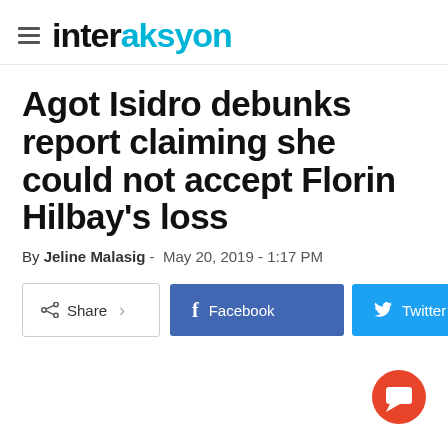interaksyon
Agot Isidro debunks report claiming she could not accept Florin Hilbay's loss
By Jeline Malasig - May 20, 2019 - 1:17 PM
[Figure (infographic): Share, Facebook, and Twitter social media buttons row]
[Figure (illustration): Orange circular chat/comment floating action button in bottom right corner]